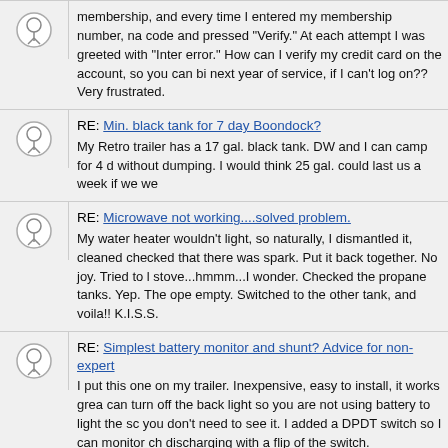membership, and every time I entered my membership number, name/code and pressed "Verify." At each attempt I was greeted with "Internal error." How can I verify my credit card on the account, so you can bill next year of service, if I can't log on?? Very frustrated.
RE: Min. black tank for 7 day Boondock?
My Retro trailer has a 17 gal. black tank. DW and I can camp for 4 d without dumping. I would think 25 gal. could last us a week if we we
RE: Microwave not working....solved problem.
My water heater wouldn't light, so naturally, I dismantled it, cleaned checked that there was spark. Put it back together. No joy. Tried to l stove...hmmm...I wonder. Checked the propane tanks. Yep. The ope empty. Switched to the other tank, and voila!! K.I.S.S.
RE: Simplest battery monitor and shunt? Advice for non-expert
I put this one on my trailer. Inexpensive, easy to install, it works grea can turn off the back light so you are not using battery to light the sc you don't need to see it. I added a DPDT switch so I can monitor ch discharging with a flip of the switch.
RE: Old indoor propane lantern help
Had one in a sailboat, years ago. Makes lots of light, but also adds h is good in the winter. As others have said keep plenty of mantles on be sure to ventilate the trailer. They burn clean but they will use up o potentially produce carbon monoxide. Have fun with your old toy!!
RE: We attempted to use the service today...